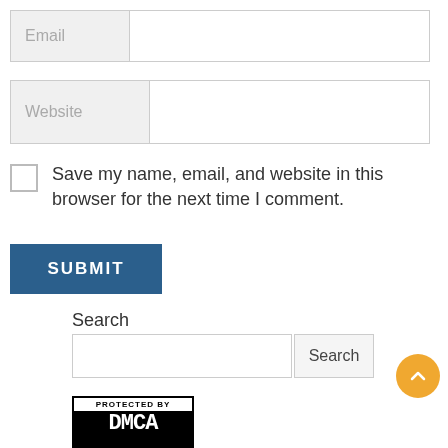Email
Website
Save my name, email, and website in this browser for the next time I comment.
SUBMIT
Search
Search
[Figure (logo): DMCA Protected badge — black border, white top bar with 'PROTECTED BY' text, large white DMCA lettering on black background]
[Figure (other): Back-to-top button — orange circle with white upward chevron arrow]